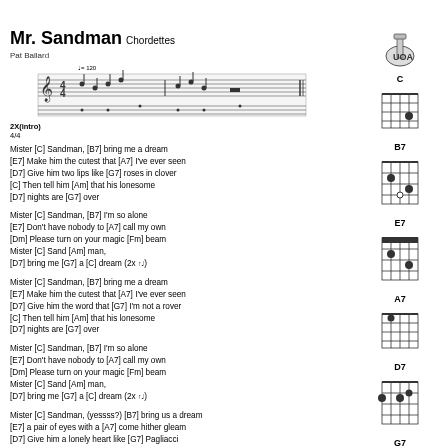Mr. Sandman Chordettes
Pat Ballard
[Figure (schematic): Musical notation staff showing melody in 4/4 time at tempo 120, with 2X(intro) marking]
[Figure (other): UOA ukulele logo top right]
Mister [C] Sandman, [B7] bring me a dream
[E7] Make him the cutest that [A7] I've ever seen
[D7] Give him two lips like [G7] roses in clover
[C] Then tell him [Am] that his lonesome
[D7] nights are [G7] over
Mister [C] Sandman, [B7] I'm so alone
[E7] Don't have nobody to [A7] call my own
[Dm] Please turn on your magic [Fm] beam
Mister [C] Sand [Am] man,
[D7] bring me [G7] a [C] dream (2x)
Mister [C] Sandman, [B7] bring me a dream
[E7] Make him the cutest that [A7] I've ever seen
[D7] Give him the word that [G7] I'm not a rover
[C] Then tell him [Am] that his lonesome
[D7] nights are [G7] over
Mister [C] Sandman, [B7] I'm so alone
[E7] Don't have nobody to [A7] call my own
[Dm] Please turn on your magic [Fm] beam
Mister [C] Sand [Am] man,
[D7] bring me [G7] a [C] dream (2x)
Mister [C] Sandman, (yessss?) [B7] bring us a dream
[E7] a pair of eyes with a [A7] come hither gleam
[D7] Give him a lonely heart like [G7] Pagliacci
[Figure (other): Ukulele chord diagram for C]
[Figure (other): Ukulele chord diagram for B7]
[Figure (other): Ukulele chord diagram for E7]
[Figure (other): Ukulele chord diagram for A7]
[Figure (other): Ukulele chord diagram for D7]
[Figure (other): Ukulele chord diagram for G7]
[Figure (other): Ukulele chord diagram for Dm (partial)]